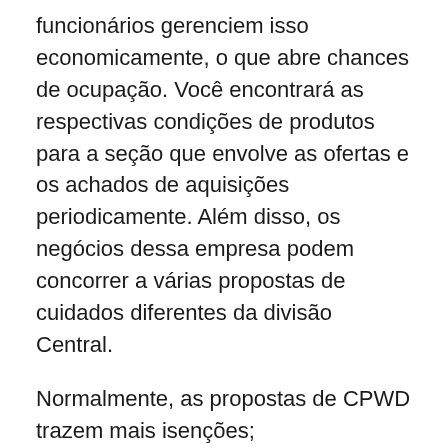funcionários gerenciem isso economicamente, o que abre chances de ocupação. Você encontrará as respectivas condições de produtos para a seção que envolve as ofertas e os achados de aquisições periodicamente. Além disso, os negócios dessa empresa podem concorrer a várias propostas de cuidados diferentes da divisão Central.
Normalmente, as propostas de CPWD trazem mais isenções; consequentemente, é essencial estar realmente atento ao licitar por causa deste tipo de proposta. Pois na frente dos colegas campeões, você tem que executar a proposta em um método especialista autêntico.
Você deve possuir compreensão absoluta deste concurso que você está pedindo; Você também deve certamente analisar o registro da proposta antes de criar uma sugestão.